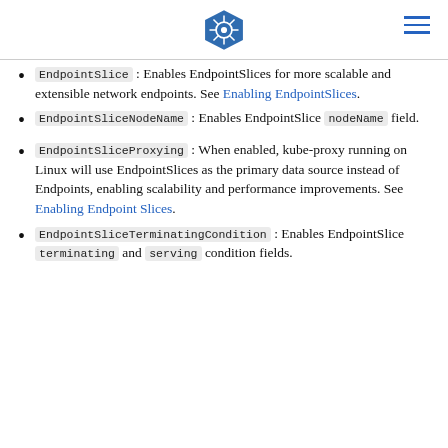Kubernetes logo and navigation
EndpointSlice : Enables EndpointSlices for more scalable and extensible network endpoints. See Enabling EndpointSlices.
EndpointSliceNodeName : Enables EndpointSlice nodeName field.
EndpointSliceProxying : When enabled, kube-proxy running on Linux will use EndpointSlices as the primary data source instead of Endpoints, enabling scalability and performance improvements. See Enabling Endpoint Slices.
EndpointSliceTerminatingCondition : Enables EndpointSlice terminating and serving condition fields.